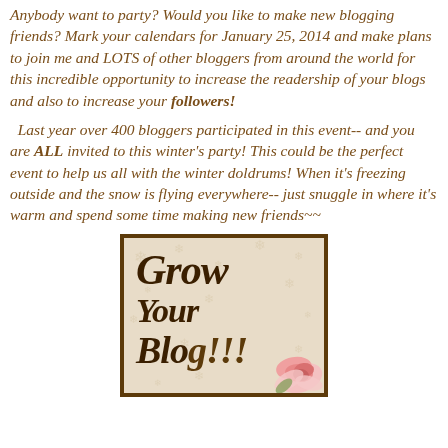Anybody want to party? Would you like to make new blogging friends? Mark your calendars for January 25, 2014 and make plans to join me and LOTS of other bloggers from around the world for this incredible opportunity to increase the readership of your blogs and also to increase your followers!
Last year over 400 bloggers participated in this event-- and you are ALL invited to this winter's party! This could be the perfect event to help us all with the winter doldrums! When it's freezing outside and the snow is flying everywhere-- just snuggle in where it's warm and spend some time making new friends~~
[Figure (illustration): A decorative image with a brown border showing the text 'Grow Your Blog' in dark brown italic script on a beige/cream background with subtle snowflake patterns and a pink rose in the lower right corner.]